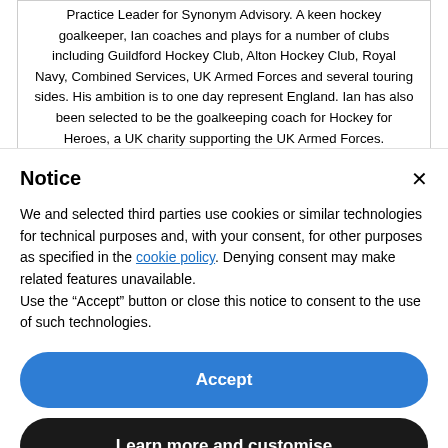Practice Leader for Synonym Advisory. A keen hockey goalkeeper, Ian coaches and plays for a number of clubs including Guildford Hockey Club, Alton Hockey Club, Royal Navy, Combined Services, UK Armed Forces and several touring sides. His ambition is to one day represent England. Ian has also been selected to be the goalkeeping coach for Hockey for Heroes, a UK charity supporting the UK Armed Forces.
Notice
We and selected third parties use cookies or similar technologies for technical purposes and, with your consent, for other purposes as specified in the cookie policy. Denying consent may make related features unavailable.
Use the "Accept" button or close this notice to consent to the use of such technologies.
Accept
Learn more and customise